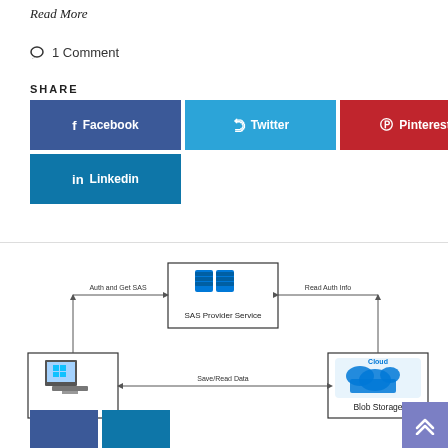Read More
1 Comment
SHARE
[Figure (infographic): Social share buttons: Facebook (blue), Twitter (light blue), Pinterest (red), Linkedin (blue)]
[Figure (flowchart): Architecture diagram showing SAS Provider Service at top center connected with arrows labeled 'Auth and Get SAS' to a client PC on lower left and 'Read Auth Info' from Blob Storage on lower right. The PC and Blob Storage are connected by a 'Save/Read Data' arrow at the bottom.]